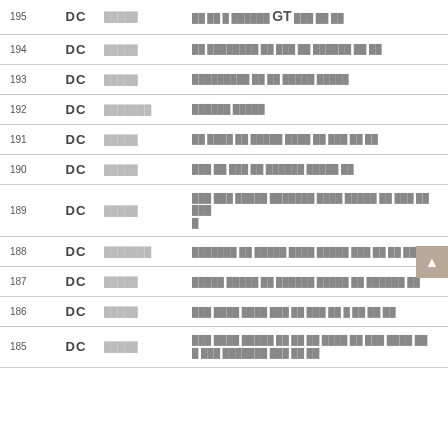| # | Type | Code | Description |
| --- | --- | --- | --- |
| 195 | DC | █████ | ██ ██ █ ██████ GT ███ ██ ██ |
| 194 | DC | █████ | ██ ████████ ██ ███ ██ ██████ ██ ██ |
| 193 | DC | █████ | █████████ ██ ██ █████ █████ |
| 192 | DC | ███████ | ██████ █████ |
| 191 | DC | █████ | ██ ████ ██ █████ ████ ██ ███ ██ ██ |
| 190 | DC | █████ | ███ ██ ███ ██ ██████ █████ ██ |
| 189 | DC | █████ | ███ ███ █████ ███████ ████ █████ ██ ███ ██ ███ █ |
| 188 | DC | ███████ | ███████ ██ █████ ████ █████ ███ ██ ██ █████ |
| 187 | DC | █████ | █████ █████ ██ ██████ █████ ██ ██████ ██ |
| 186 | DC | █████ | ███ ████ ████ ███ ██ ███ ██ █ ██ ██ ██ |
| 185 | DC | █████ | ███ ████ █████ ██ ██ ██ ████ ██ ███ ████ ██ █ ███ ███████ ███ ██ ██ |